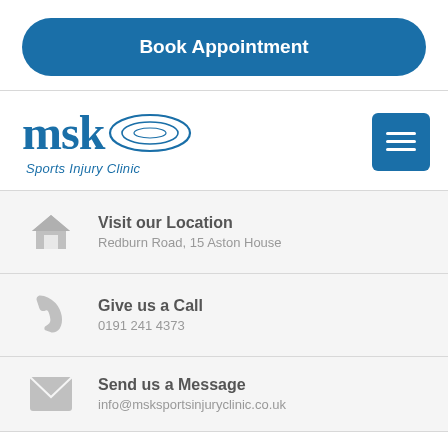Book Appointment
[Figure (logo): MSK Sports Injury Clinic logo with stylized 'msk' text and oval swoosh graphic]
Visit our Location
Redburn Road, 15 Aston House
Give us a Call
0191 241 4373
Send us a Message
info@msksportsinjuryclinic.co.uk